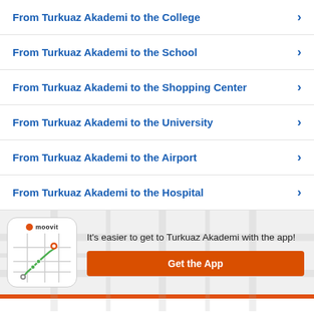From Turkuaz Akademi to the College
From Turkuaz Akademi to the School
From Turkuaz Akademi to the Shopping Center
From Turkuaz Akademi to the University
From Turkuaz Akademi to the Airport
From Turkuaz Akademi to the Hospital
[Figure (screenshot): Moovit app screenshot showing a route on a map with a green path and location pins]
It's easier to get to Turkuaz Akademi with the app!
Get the App